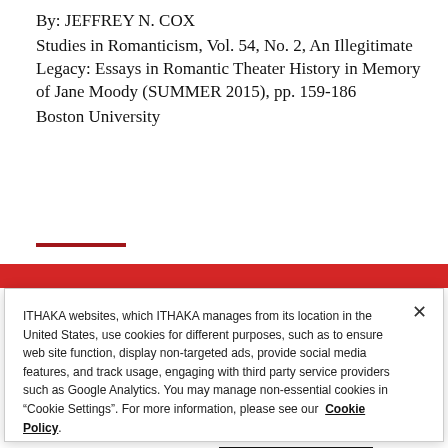By: JEFFREY N. COX
Studies in Romanticism, Vol. 54, No. 2, An Illegitimate Legacy: Essays in Romantic Theater History in Memory of Jane Moody (SUMMER 2015), pp. 159-186
Boston University
ITHAKA websites, which ITHAKA manages from its location in the United States, use cookies for different purposes, such as to ensure web site function, display non-targeted ads, provide social media features, and track usage, engaging with third party service providers such as Google Analytics. You may manage non-essential cookies in “Cookie Settings”. For more information, please see our Cookie Policy.
Cookie Settings
OK, proceed